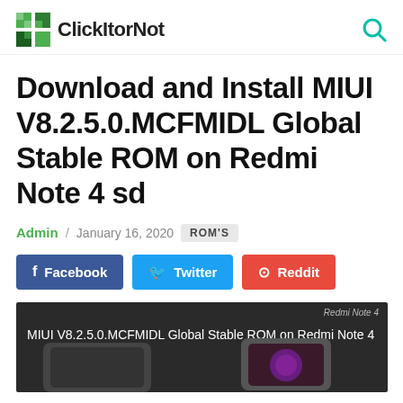ClickItorNot
Download and Install MIUI V8.2.5.0.MCFMIDL Global Stable ROM on Redmi Note 4 sd
Admin / January 16, 2020  ROM'S
Facebook  Twitter  Reddit
[Figure (photo): Dark background image showing MIUI V8.2.5.0.MCFMIDL Global Stable ROM on Redmi Note 4 text with Redmi Note 4 phones]